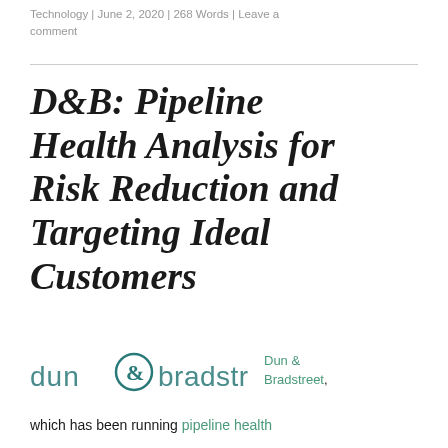Technology | June 2, 2020 | 268 Words | Leave a comment
D&B: Pipeline Health Analysis for Risk Reduction and Targeting Ideal Customers
[Figure (logo): Dun & Bradstreet logo in teal/green colors with stylized ampersand]
Dun & Bradstreet, which has been running pipeline health